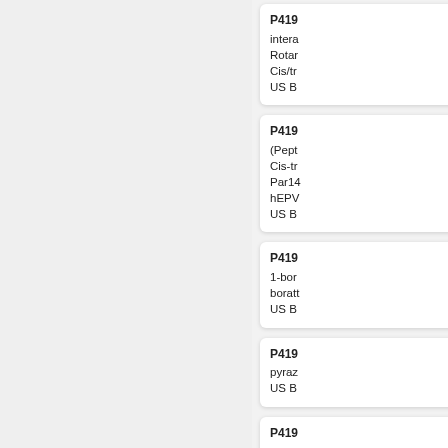P419... intera... Rotar... Cis/tr... US B...
P419... (Pept... Cis-tr... Par14... hEPV... US B...
P419... 1-bor... boratt... US B...
P419... pyraz... US B...
P419... pyraz... US B...
P419... dimet... yl)eth...